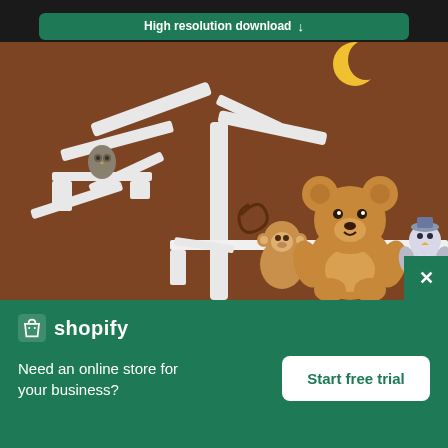[Figure (other): A green rounded button labeled 'High resolution download' with a downward arrow, on a dark background]
[Figure (photo): A nursery room wall painted brown with white painted tree decorations, a shelf with stuffed animals including a monkey, large teddy bear, and snowman bird, and a small owl figurine on another shelf. Yellow crescent moon shape visible at top right. Brown spiral detail on tree.]
[Figure (screenshot): Shopify advertisement banner with green background, Shopify logo, text 'Need an online store for your business?' and a white 'Start free trial' button]